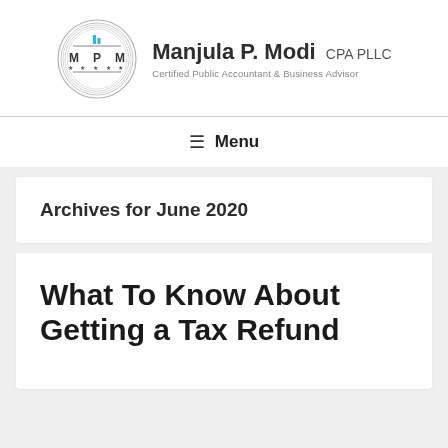[Figure (logo): Manjula P. Modi CPA PLLC logo — circular seal with M P M letters and five stars, next to bold text 'Manjula P. Modi CPA PLLC' and subtitle 'Certified Public Accountant & Business Advisor']
Menu
Archives for June 2020
What To Know About Getting a Tax Refund